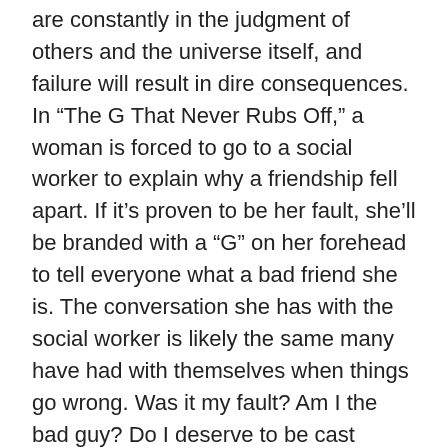are constantly in the judgment of others and the universe itself, and failure will result in dire consequences. In “The G That Never Rubs Off,” a woman is forced to go to a social worker to explain why a friendship fell apart. If it’s proven to be her fault, she’ll be branded with a “G” on her forehead to tell everyone what a bad friend she is. The conversation she has with the social worker is likely the same many have had with themselves when things go wrong. Was it my fault? Am I the bad guy? Do I deserve to be cast aside?
There are also more traditional horror stories in the collection such as “Suckle His Poison.” A solicitor returns home to find his wife